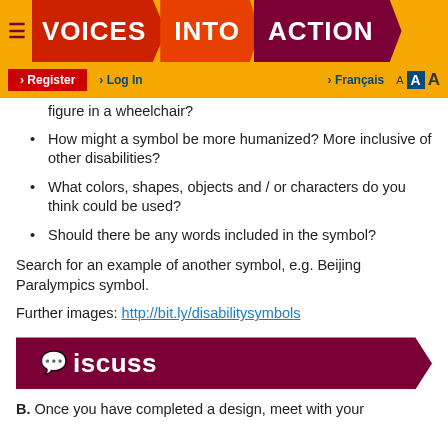VOICES INTO ACTION
What are your views of the traditional disabled stick figure in a wheelchair?
How might a symbol be more humanized? More inclusive of other disabilities?
What colors, shapes, objects and / or characters do you think could be used?
Should there be any words included in the symbol?
Search for an example of another symbol, e.g. Beijing Paralympics symbol.
Further images: http://bit.ly/disabilitysymbols
Discuss
B. Once you have completed a design, meet with your